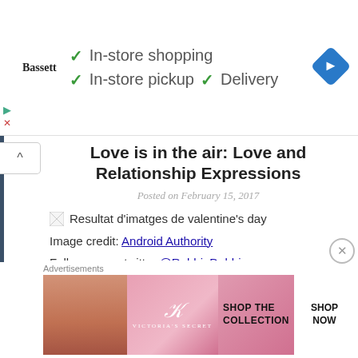[Figure (screenshot): Advertisement banner: Bassett logo with checkmarks for In-store shopping, In-store pickup, and Delivery, plus a blue diamond navigation icon]
Love is in the air: Love and Relationship Expressions
Posted on February 15, 2017
[Figure (photo): Broken image placeholder with alt text: Resultat d'imatges de valentine's day]
Image credit: Android Authority
Follow me on twitter @RobbioDobbio
This is a lesson plan I designed for Valentine's day so it's
Advertisements
[Figure (screenshot): Victoria's Secret advertisement: SHOP THE COLLECTION with SHOP NOW button]